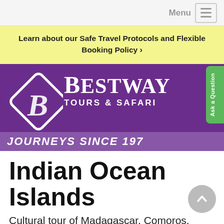Menu
Learn about our Safe Travel Protocols and Flexible Booking Policy ›
[Figure (logo): Bestway Tours & Safari logo — purple background with white diamond shape containing a stylized B, text reads BESTWAY TOURS & SAFARI JOURNEYS SINCE 197...]
Indian Ocean Islands
Cultural tour of Madagascar, Comoros, Mayotte, Mauritius,